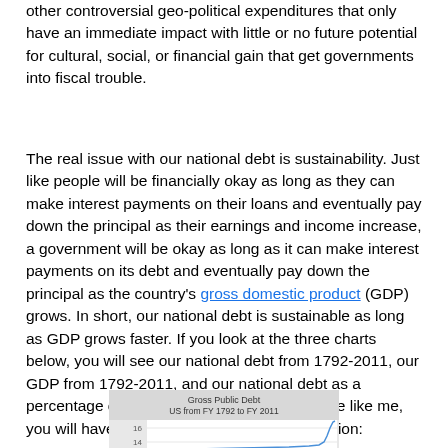other controversial geo-political expenditures that only have an immediate impact with little or no future potential for cultural, social, or financial gain that get governments into fiscal trouble.
The real issue with our national debt is sustainability. Just like people will be financially okay as long as they can make interest payments on their loans and eventually pay down the principal as their earnings and income increase, a government will be okay as long as it can make interest payments on its debt and eventually pay down the principal as the country's gross domestic product (GDP) grows. In short, our national debt is sustainable as long as GDP grows faster. If you look at the three charts below, you will see our national debt from 1792-2011, our GDP from 1792-2011, and our national debt as a percentage of GDP from 1792-2011. If you are like me, you will have two takeaways and one conclusion:
[Figure (line-chart): Partial view of a line chart showing Gross Public Debt for the US from FY 1792 to FY 2011, with y-axis values visible at 14 and 16.]